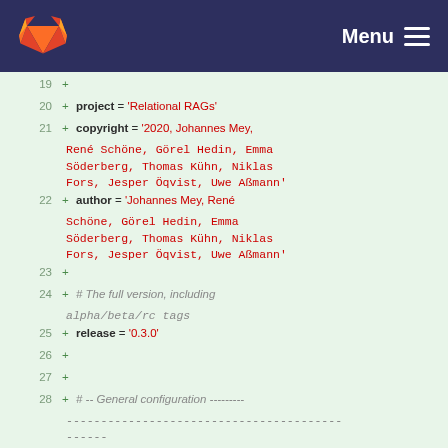GitLab — Menu
[Figure (screenshot): Code diff view showing lines 19–30 of a Python configuration file (conf.py). Lines show project = 'Relational RAGs', copyright and author fields listing multiple authors, release = '0.3.0', and a General configuration comment section header. All added lines marked with +.]